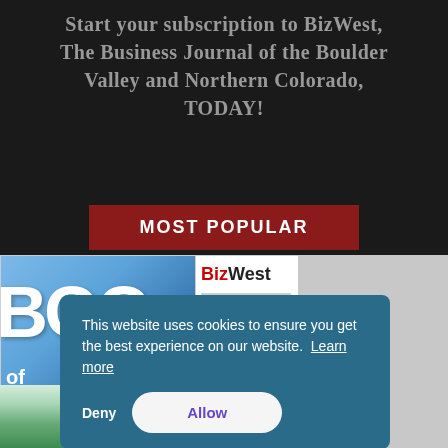Start your subscription to BizWest, The Business Journal of the Boulder Valley and Northern Colorado, TODAY!
MOST POPULAR
[Figure (photo): Magazine covers of BizWest publications, including a Book of Lists issue and a BizWest newspaper, with a tree photo below and a grey panel on the right.]
This website uses cookies to ensure you get the best experience on our website. Learn more
Deny
Allow